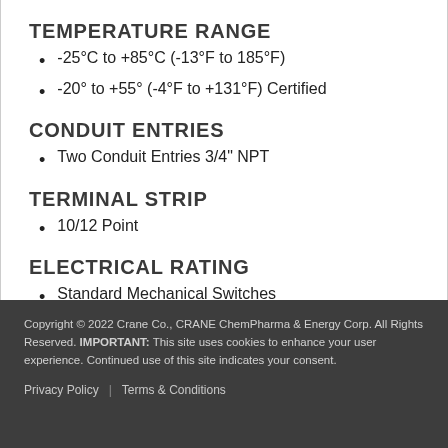TEMPERATURE RANGE
-25°C to +85°C (-13°F to 185°F)
-20° to +55° (-4°F to +131°F) Certified
CONDUIT ENTRIES
Two Conduit Entries 3/4" NPT
TERMINAL STRIP
10/12 Point
ELECTRICAL RATING
Standard Mechanical Switches
Copyright © 2022 Crane Co., CRANE ChemPharma & Energy Corp. All Rights Reserved. IMPORTANT: This site uses cookies to enhance your user experience. Continued use of this site indicates your consent.
Privacy Policy | Terms & Conditions